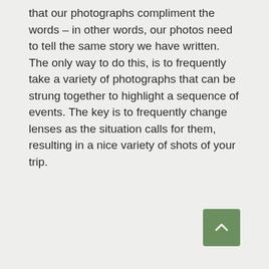that our photographs compliment the words – in other words, our photos need to tell the same story we have written. The only way to do this, is to frequently take a variety of photographs that can be strung together to highlight a sequence of events. The key is to frequently change lenses as the situation calls for them, resulting in a nice variety of shots of your trip.
[Figure (other): Green rounded-corner button with an upward-pointing chevron arrow, positioned at bottom right of the page]